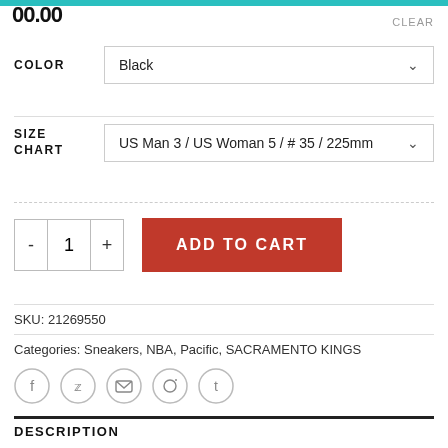00.00
CLEAR
COLOR
Black
SIZE CHART
US Man 3 / US Woman 5 / # 35 / 225mm
ADD TO CART
SKU: 21269550
Categories: Sneakers, NBA, Pacific, SACRAMENTO KINGS
DESCRIPTION